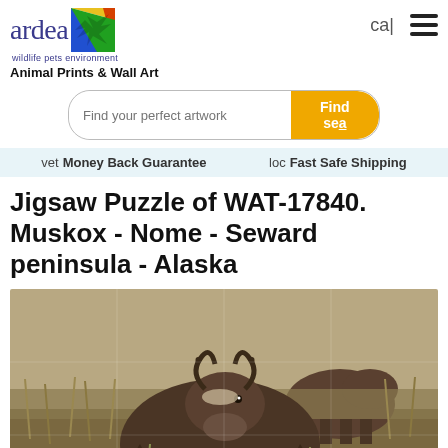[Figure (logo): Ardea wildlife pets environment logo with rainbow colored bird graphic]
Animal Prints & Wall Art
Find your perfect artwork
Find sea
vet Money Back Guarantee   loc Fast Safe Shipping
Jigsaw Puzzle of WAT-17840. Muskox - Nome - Seward peninsula - Alaska
[Figure (photo): Jigsaw puzzle image showing a muskox in the foreground with shaggy brown fur, curved horns, standing in tall grass with blue wildflowers. Additional muskox visible in the background. Seward peninsula, Alaska.]